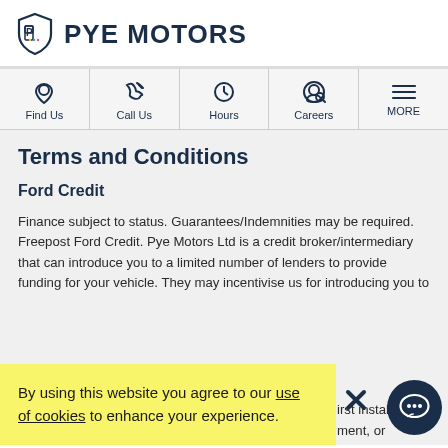PYE MOTORS
[Figure (screenshot): Navigation bar with icons: Find Us, Call Us, Hours, Careers, MORE]
Terms and Conditions
Ford Credit
Finance subject to status. Guarantees/Indemnities may be required. Freepost Ford Credit. Pye Motors Ltd is a credit broker/intermediary that can introduce you to a limited number of lenders to provide funding for your vehicle. They may incentivise us for introducing you to
By using this website you agree to our use of cookies to enhance your experience.
irst instalme ment, or